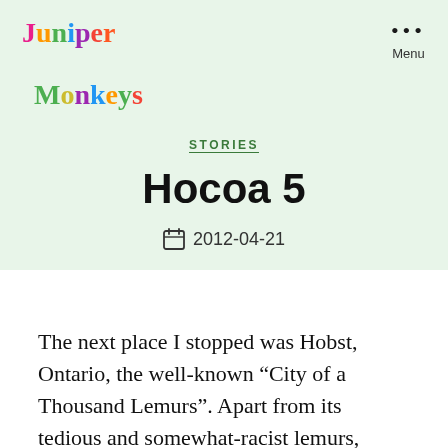[Figure (logo): Juniper Monkeys colorful rainbow logo text in two lines]
STORIES
Hocoa 5
2012-04-21
The next place I stopped was Hobst, Ontario, the well-known “City of a Thousand Lemurs”. Apart from its tedious and somewhat-racist lemurs, Hobst is known as